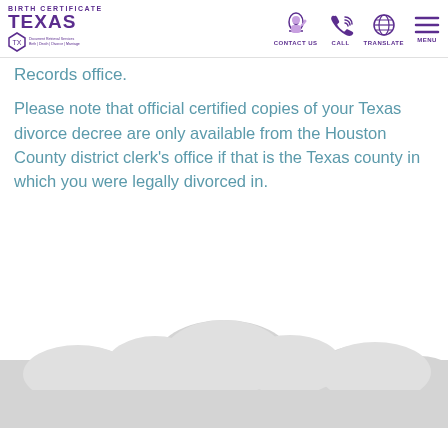Birth Certificate Texas — CONTACT US | CALL | TRANSLATE | MENU
Records office.
Please note that official certified copies of your Texas divorce decree are only available from the Houston County district clerk's office if that is the Texas county in which you were legally divorced in.
[Figure (illustration): Decorative cloud silhouette illustration in light grey at the bottom of the page]